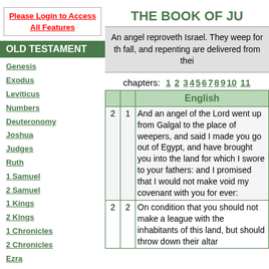Please Login to Access All Features
OLD TESTAMENT
Genesis
Exodus
Leviticus
Numbers
Deuteronomy
Joshua
Judges
Ruth
1 Samuel
2 Samuel
1 Kings
2 Kings
1 Chronicles
2 Chronicles
Ezra
Nehemiah
Tobit
Judith
THE BOOK OF JU
An angel reproveth Israel. They weep for th fall, and repenting are delivered from thei
chapters: 1 2 3 4 5 6 7 8 9 10 11
|  |  | English |
| --- | --- | --- |
| 2 | 1 | And an angel of the Lord went up from Galgal to the place of weepers, and said I made you go out of Egypt, and have brought you into the land for which I swore to your fathers: and I promised that I would not make void my covenant with you for ever: |
| 2 | 2 | On condition that you should not make a league with the inhabitants of this land, but should throw down their altar |